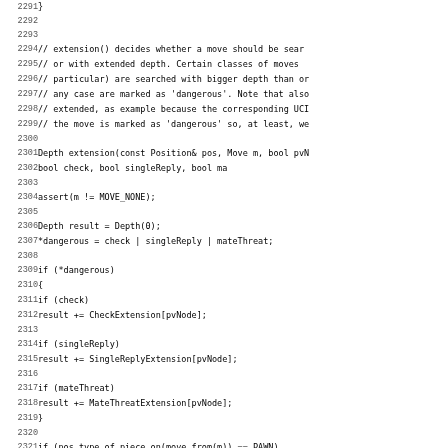Source code listing, lines 2291-2323, showing extension() function implementation in C++